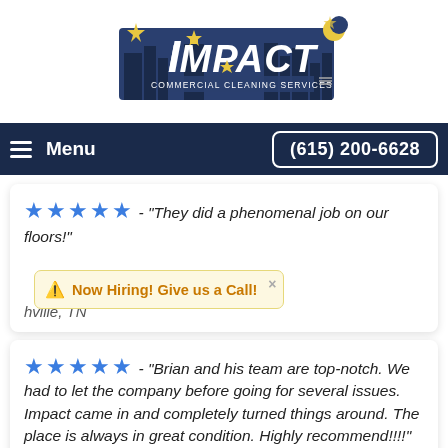[Figure (logo): Impact Commercial Cleaning Services logo with cityscape silhouette, star, and crescent moon in blue and yellow]
Menu   (615) 200-6628
★★★★★ - "They did a phenomenal job on our floors!"
⚠ Now Hiring! Give us a Call!    Nashville, TN
★★★★★ - "Brian and his team are top-notch. We had to let the company before going for several issues. Impact came in and completely turned things around. The place is always in great condition. Highly recommend!!!!"